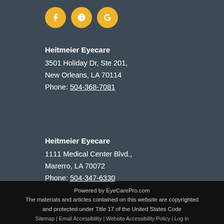[Figure (logo): Three social media icon circles (Facebook, Yelp, Google) in gold/yellow color]
Heitmeier Eyecare
3501 Holiday Dr, Ste 201,
New Orleans, LA 70114
Phone: 504-368-7081
Heitmeier Eyecare
1111 Medical Center Blvd.,
Marrero, LA 70072
Phone: 504-347-6330
Powered by EyeCarePro.com
The materials and articles contained on this website are copyrighted and protected under Title 17 of the United States Code
Sitemap | Email Accessibility | Website Accessibility Policy | Log in